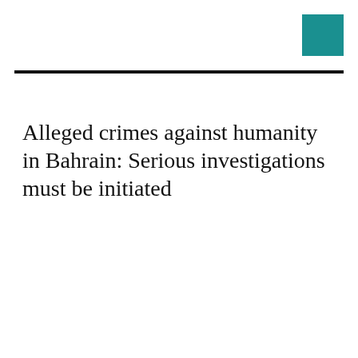[Figure (other): Teal/cyan filled square in the top-right corner, used as a decorative brand element]
Alleged crimes against humanity in Bahrain: Serious investigations must be initiated